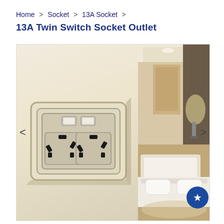Home > Socket > 13A Socket > 13A Twin Switch Socket Outlet
13A Twin Switch Socket Outlet
[Figure (photo): Product image of a 13A Twin Switch Socket Outlet (UK-style double switched socket, cream/ivory color) mounted on wall plate, alongside a bedroom interior photo showing the product in context.]